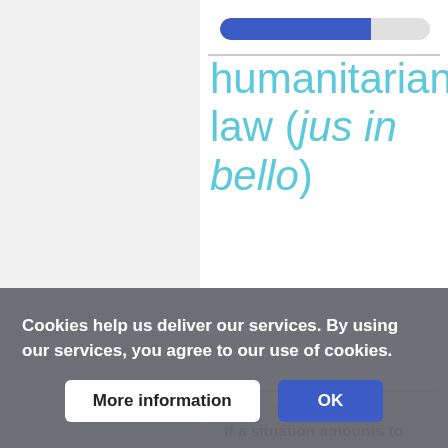[Figure (other): Progress bar showing approximately 72% completion, with blue filled portion on left and white/empty on right]
humanitarian law (jus in bello)
If a situation amounts to an armed conflict and cyber operations are carried out during that conflict, international humanitarian law applies to these cyber operations just as it does
Cookies help us deliver our services. By using our services, you agree to our use of cookies.
More information | OK